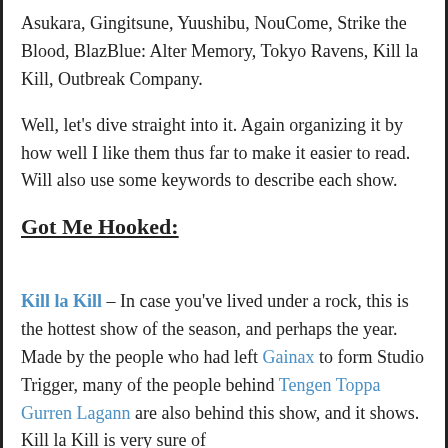Asukara, Gingitsune, Yuushibu, NouCome, Strike the Blood, BlazBlue: Alter Memory, Tokyo Ravens, Kill la Kill, Outbreak Company.
Well, let’s dive straight into it. Again organizing it by how well I like them thus far to make it easier to read. Will also use some keywords to describe each show.
Got Me Hooked:
Kill la Kill – In case you’ve lived under a rock, this is the hottest show of the season, and perhaps the year. Made by the people who had left Gainax to form Studio Trigger, many of the people behind Tengen Toppa Gurren Lagann are also behind this show, and it shows. Kill la Kill is very sure of